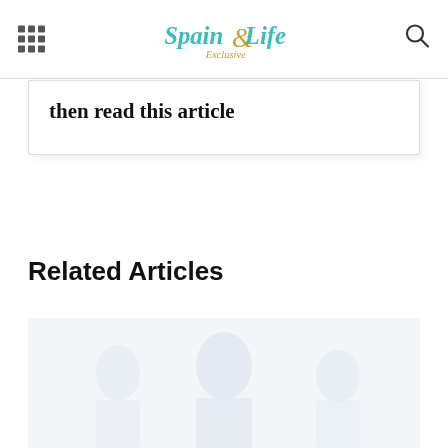Spain Life Exclusive
then read this article
Related Articles
[Figure (photo): Faded/washed-out photo of people in white shirts, possibly a group scene]